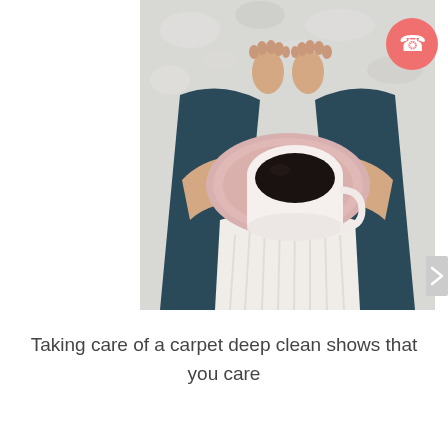[Figure (photo): Overhead view of a person sitting on a fluffy white carpet, wearing dark jeans and a white knit sweater, holding a pink saucer with a white coffee mug filled with black coffee. Bare feet visible near the top of the image.]
Taking care of a carpet deep clean shows that you care